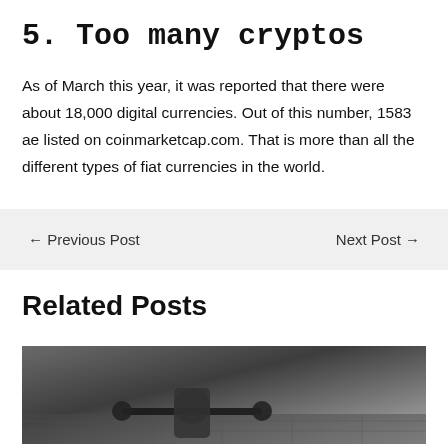5. Too many cryptos
As of March this year, it was reported that there were about 18,000 digital currencies. Out of this number, 1583 ae listed on coinmarketcap.com. That is more than all the different types of fiat currencies in the world.
← Previous Post
Next Post →
Related Posts
[Figure (photo): Person lifting weights at a gym, dark athletic clothing, tile floor background]